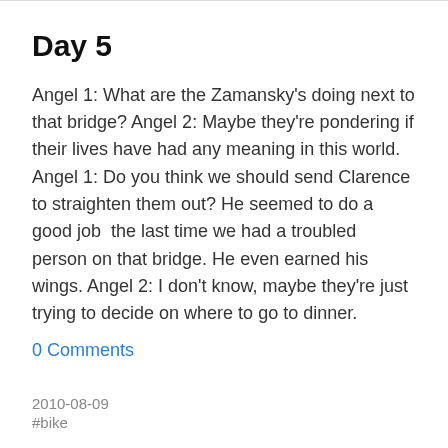Day 5
Angel 1: What are the Zamansky's doing next to that bridge? Angel 2: Maybe they're pondering if their lives have had any meaning in this world. Angel 1: Do you think we should send Clarence to straighten them out? He seemed to do a good job  the last time we had a troubled person on that bridge. He even earned his wings. Angel 2: I don't know, maybe they're just trying to decide on where to go to dinner.
0 Comments
2010-08-09
#bike